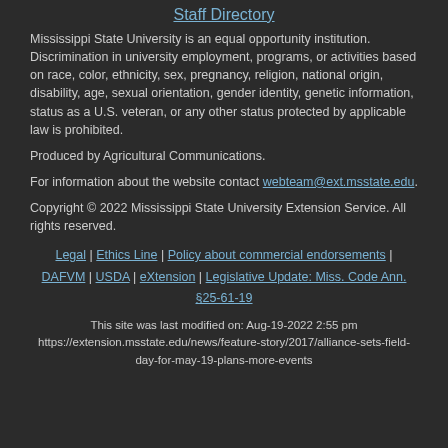Staff Directory
Mississippi State University is an equal opportunity institution. Discrimination in university employment, programs, or activities based on race, color, ethnicity, sex, pregnancy, religion, national origin, disability, age, sexual orientation, gender identity, genetic information, status as a U.S. veteran, or any other status protected by applicable law is prohibited.
Produced by Agricultural Communications.
For information about the website contact webteam@ext.msstate.edu.
Copyright © 2022 Mississippi State University Extension Service. All rights reserved.
Legal | Ethics Line | Policy about commercial endorsements | DAFVM | USDA | eXtension | Legislative Update: Miss. Code Ann. §25-61-19
This site was last modified on: Aug-19-2022 2:55 pm
https://extension.msstate.edu/news/feature-story/2017/alliance-sets-field-day-for-may-19-plans-more-events